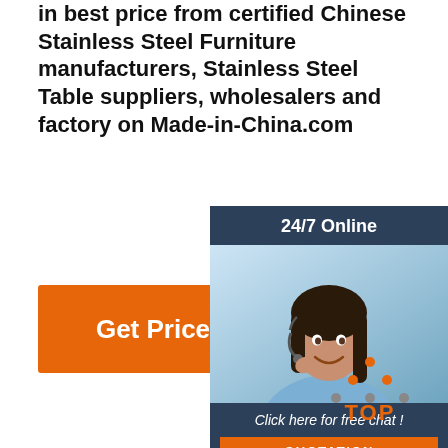in best price from certified Chinese Stainless Steel Furniture manufacturers, Stainless Steel Table suppliers, wholesalers and factory on Made-in-China.com
[Figure (other): Orange 'Get Price' button]
[Figure (other): 24/7 Online chat widget with photo of customer service representative, 'Click here for free chat!' text, and orange QUOTATION button]
[Figure (logo): Jiuzuan Jewelry logo with snowflake-style icon and Chinese characters 玖钻珠宝 with JIUZUAN JEWELRY text below]
[Figure (other): Orange and grey TOP button with dot-triangle icon above text]